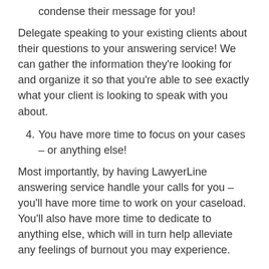condense their message for you!
Delegate speaking to your existing clients about their questions to your answering service! We can gather the information they're looking for and organize it so that you're able to see exactly what your client is looking to speak with you about.
4. You have more time to focus on your cases – or anything else!
Most importantly, by having LawyerLine answering service handle your calls for you – you'll have more time to work on your caseload. You'll also have more time to dedicate to anything else, which will in turn help alleviate any feelings of burnout you may experience.